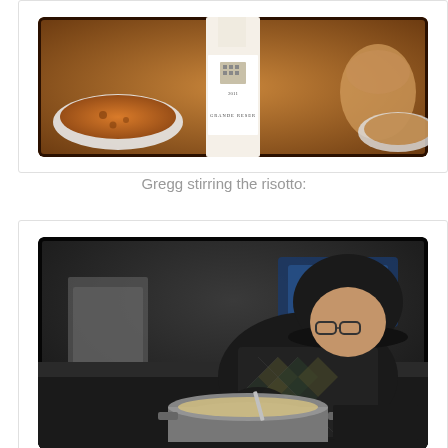[Figure (photo): A wine bottle labeled 'Grande Reserva 2011' next to a white bowl of orange-brown soup on a warm-toned wooden surface.]
Gregg stirring the risotto:
[Figure (photo): A person wearing a dark argyle sweater and a black cap leaning over a large pot on a stove, stirring risotto in a commercial kitchen.]